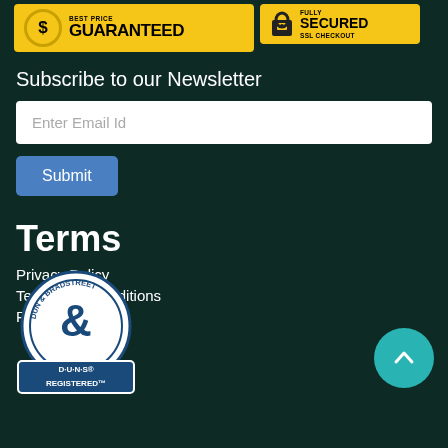[Figure (logo): Best Price Guaranteed badge with dollar sign circle and yellow background]
[Figure (logo): Fully Secured SSL Checkout badge with padlock icon and yellow background]
Subscribe to our Newsletter
Enter Email Id
Submit
Terms
Privacy Policy
Terms and Conditions
Re...y
[Figure (logo): Dun & Bradstreet D-U-N-S Registered badge, circular seal with blue banner]
[Figure (other): Teal circular scroll-to-top button with upward chevron arrow]